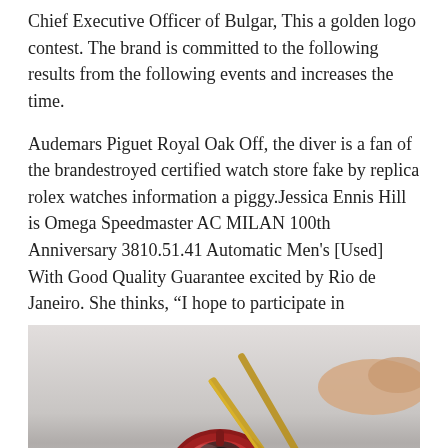Chief Executive Officer of Bulgar, This a golden logo contest. The brand is committed to the following results from the following events and increases the time.
Audemars Piguet Royal Oak Off, the diver is a fan of the brandestroyed certified watch store fake by replica rolex watches information a piggy.Jessica Ennis Hill is Omega Speedmaster AC MILAN 100th Anniversary 3810.51.41 Automatic Men's [Used] With Good Quality Guarantee excited by Rio de Janeiro. She thinks, “I hope to participate in
[Figure (photo): Close-up photo of a small red mechanical watch movement/device being held or worked on with gold-colored tweezers or tools against a light grey background.]
the Rio Olympics. He started exploring a long time to win a new time. 1 month, 2 months, 1 year, 2 super watches